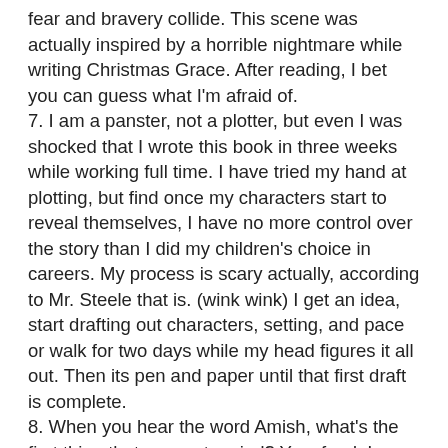fear and bravery collide. This scene was actually inspired by a horrible nightmare while writing Christmas Grace. After reading, I bet you can guess what I'm afraid of.
7. I am a panster, not a plotter, but even I was shocked that I wrote this book in three weeks while working full time. I have tried my hand at plotting, but find once my characters start to reveal themselves, I have no more control over the story than I did my children's choice in careers. My process is scary actually, according to Mr. Steele that is. (wink wink) I get an idea, start drafting out characters, setting, and pace or walk for two days while my head figures it all out. Then its pen and paper until that first draft is complete.
8. When you hear the word Amish, what's the first thing that comes to mind? Yep, food. I happen to be a food lover and an expert on the subject. Grace found herself unable to work at the job her aunt had set up for her but found she had a purpose, and a place to fit in. We all have a purpose, and a place in our community.
9. When I first signed with my amazing agent, Julie Gwinn,